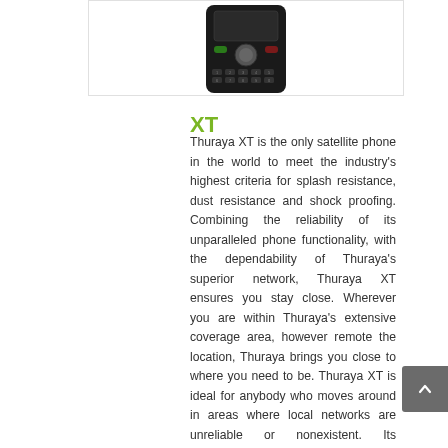[Figure (photo): Thuraya XT satellite phone shown from the front, black device with keypad and navigation button visible, cut off at top.]
XT
Thuraya XT is the only satellite phone in the world to meet the industry’s highest criteria for splash resistance, dust resistance and shock proofing. Combining the reliability of its unparalleled phone functionality, with the dependability of Thuraya’s superior network, Thuraya XT ensures you stay close. Wherever you are within Thuraya’s extensive coverage area, however remote the location, Thuraya brings you close to where you need to be. Thuraya XT is ideal for anybody who moves around in areas where local networks are unreliable or nonexistent. Its extremely durable design makes …Read More